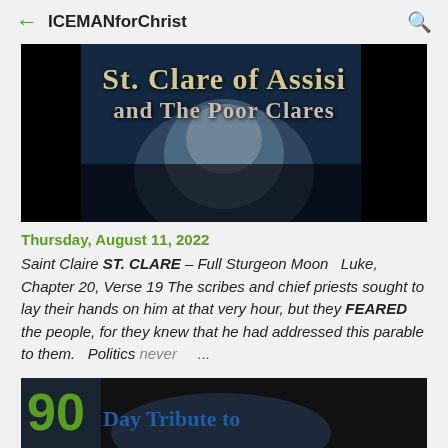ICEMANforChrist
[Figure (photo): Banner image with dark background and an image of a nun/saint. Text reads 'St. Clare of Assisi and The Poor Clares' in gold/cream serif font.]
Thursday, August 11, 2022
Saint Claire ST. CLARE – Full Sturgeon Moon   Luke, Chapter 20, Verse 19 The scribes and chief priests sought to lay their hands on him at that very hour, but they FEARED the people, for they knew that he had addressed this parable to them.   Politics never ...
[Figure (photo): Bottom banner image partially visible, dark background with large number and text 'Day Tribute to' in blue serif font.]